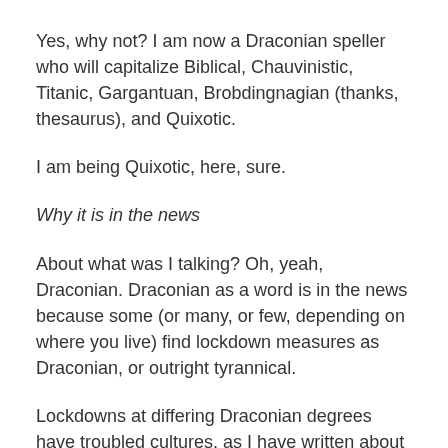Yes, why not? I am now a Draconian speller who will capitalize Biblical, Chauvinistic, Titanic, Gargantuan, Brobdingnagian (thanks, thesaurus), and Quixotic.
I am being Quixotic, here, sure.
Why it is in the news
About what was I talking? Oh, yeah, Draconian. Draconian as a word is in the news because some (or many, or few, depending on where you live) find lockdown measures as Draconian, or outright tyrannical.
Lockdowns at differing Draconian degrees have troubled cultures, as I have written about above.